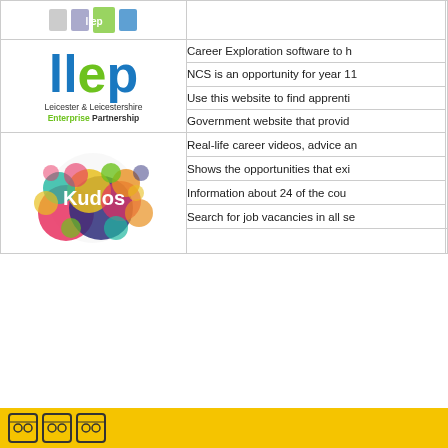[Figure (logo): Small logos/icons in top left cell]
[Figure (logo): LLEP - Leicester & Leicestershire Enterprise Partnership logo]
Career Exploration software to h
NCS is an opportunity for year 11
Use this website to find apprenti
Government website that provid
[Figure (logo): Kudos colorful bubble logo]
Real-life career videos, advice an
Shows the opportunities that exi
Information about 24 of the cou
Search for job vacancies in all se
Footer bar with icons on yellow background